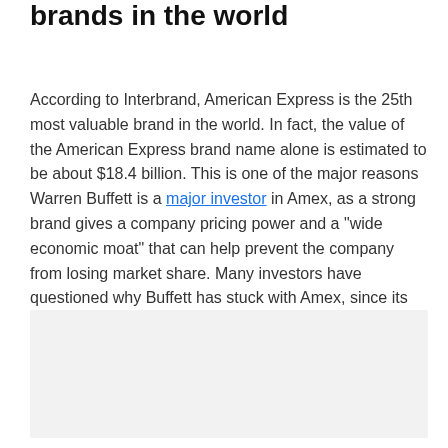brands in the world
According to Interbrand, American Express is the 25th most valuable brand in the world. In fact, the value of the American Express brand name alone is estimated to be about $18.4 billion. This is one of the major reasons Warren Buffett is a major investor in Amex, as a strong brand gives a company pricing power and a "wide economic moat" that can help prevent the company from losing market share. Many investors have questioned why Buffett has stuck with Amex, since its "business model is under attack," as Buffett himself put it. The rock-solid American Express brand name could be the reason.